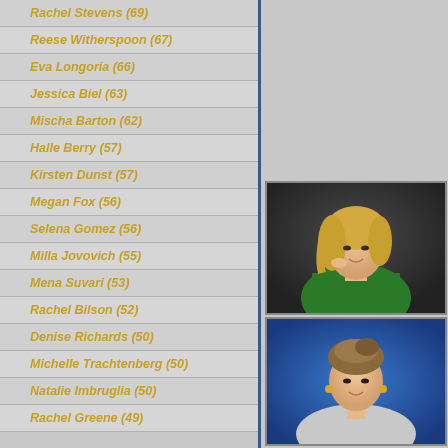Rachel Stevens (69)
Reese Witherspoon (67)
Eva Longoria (66)
Jessica Biel (63)
Mischa Barton (62)
Halle Berry (57)
Kirsten Dunst (57)
Megan Fox (56)
Selena Gomez (56)
Milla Jovovich (55)
Mena Suvari (53)
Rachel Bilson (52)
Denise Richards (50)
Michelle Trachtenberg (50)
Natalie Imbruglia (50)
Rachel Greene (49)
[Figure (photo): Blonde woman in green dress, posing with hand near face]
[Figure (photo): Woman with short updo hairstyle against blue background]